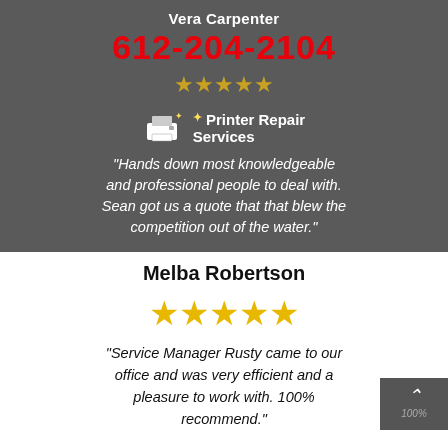Vera Carpenter
612-204-2104
[Figure (other): Five gold/dark gold stars rating]
[Figure (logo): Printer Repair Services logo with printer icon and sparkle]
“Hands down most knowledgeable and professional people to deal with. Sean got us a quote that that blew the competition out of the water.”
Melba Robertson
[Figure (other): Five gold stars rating]
“Service Manager Rusty came to our office and was very efficient and a pleasure to work with. 100% recommend.”